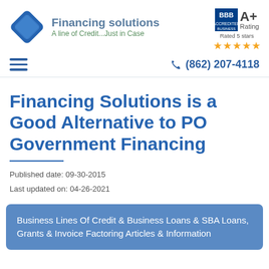[Figure (logo): Financing Solutions company logo with blue diamond shape and company name/tagline]
[Figure (logo): BBB A+ Rating badge with 5 stars rating]
[Figure (other): Hamburger menu icon (three horizontal lines)]
(862) 207-4118
Financing Solutions is a Good Alternative to PO Government Financing
Published date: 09-30-2015
Last updated on: 04-26-2021
Business Lines Of Credit & Business Loans & SBA Loans, Grants & Invoice Factoring Articles & Information